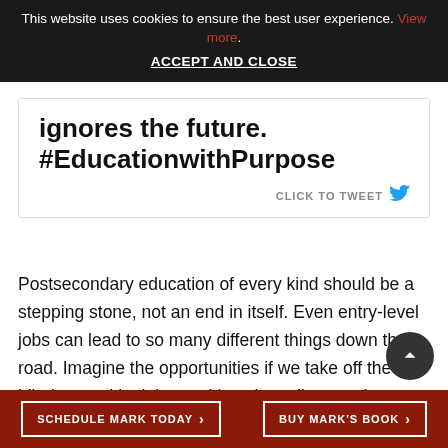This website uses cookies to ensure the best user experience. View more. ACCEPT AND CLOSE
ignores the future. #EducationwithPurpose
CLICK TO TWEET
Postsecondary education of every kind should be a stepping stone, not an end in itself. Even entry-level jobs can lead to so many different things down the road. Imagine the opportunities if we take off the blinders and look beyond just the college pathway. Apprenticeships, industry training, and other educational pathways can function as the on-ramp to a great career. Many times
SCHEDULE MARK TODAY > BUY MARK'S BOOK >